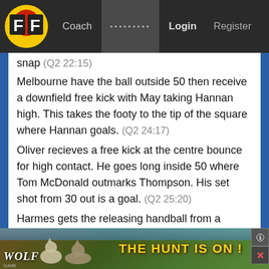FF | Coach | ......... | Login | Register
snap (Q2 22:15)
Melbourne have the ball outside 50 then receive a downfield free kick with May taking Hannan high. This takes the footy to the tip of the square where Hannan goals. (Q2 24:17)
Oliver recieves a free kick at the centre bounce for high contact. He goes long inside 50 where Tom McDonald outmarks Thompson. His set shot from 30 out is a goal. (Q2 25:20)
Harmes gets the releasing handball from a contested situation on the wing. It comes to Melksham who runs to 50 and sends his shot across the face for a behind. (Q2 30:17)
[Figure (screenshot): Advertisement banner for Wolf Game app showing wolves in a field with text THE HUNT IS ON!]